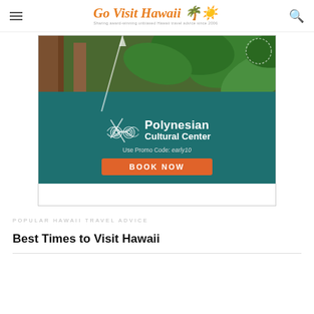Go Visit Hawaii — Sharing award-winning unbiased Hawaii travel advice since 2006
[Figure (illustration): Advertisement for Polynesian Cultural Center showing tropical foliage background, teal lower section with decorative Polynesian ornament logo, text 'Polynesian Cultural Center', 'Use Promo Code: early10', and orange BOOK NOW button]
POPULAR HAWAII TRAVEL ADVICE
Best Times to Visit Hawaii